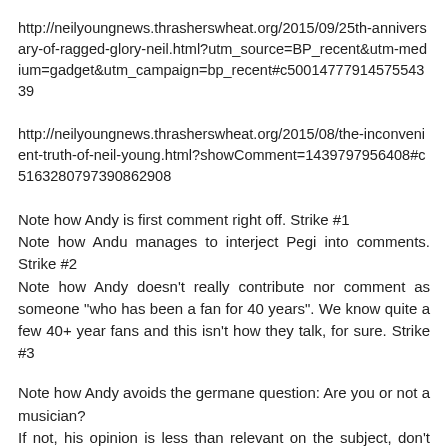http://neilyoungnews.thrasherswheat.org/2015/09/25th-anniversary-of-ragged-glory-neil.html?utm_source=BP_recent&utm-medium=gadget&utm_campaign=bp_recent#c5001477791457554339
http://neilyoungnews.thrasherswheat.org/2015/08/the-inconvenient-truth-of-neil-young.html?showComment=1439797956408#c5163280797390862908
Note how Andy is first comment right off. Strike #1
Note how Andu manages to interject Pegi into comments. Strike #2
Note how Andy doesn't really contribute nor comment as someone "who has been a fan for 40 years". We know quite a few 40+ year fans and this isn't how they talk, for sure. Strike #3
Note how Andy avoids the germane question: Are you or not a musician?
If not, his opinion is less than relevant on the subject, don't you think?